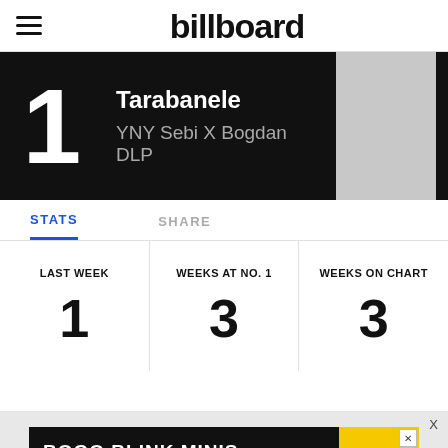billboard
Tarabanele
YNY Sebi X Bogdan DLP
STATS
SHARE
| LAST WEEK | WEEKS AT NO. 1 | WEEKS ON CHART |
| --- | --- | --- |
| 1 | 3 | 3 |
[Figure (other): Advertisement banner: BOGO BLINK MINIS GET YOURS NOW with SPY logo on yellow background]